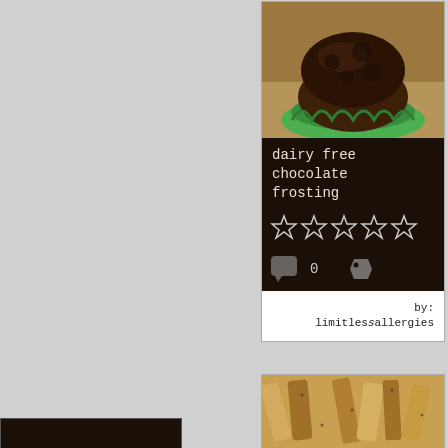[Figure (photo): Chocolate muffin with green cupcake wrapper on a surface]
dairy free chocolate frosting
[Figure (other): Five empty star rating icons]
0 comments, tag icon
by: limitlessallergies
[Figure (photo): Roasted potato wedges on a baking sheet]